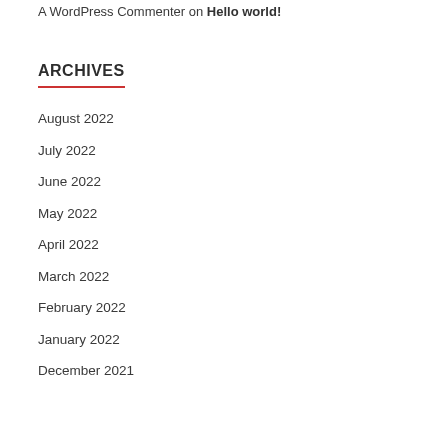A WordPress Commenter on Hello world!
ARCHIVES
August 2022
July 2022
June 2022
May 2022
April 2022
March 2022
February 2022
January 2022
December 2021